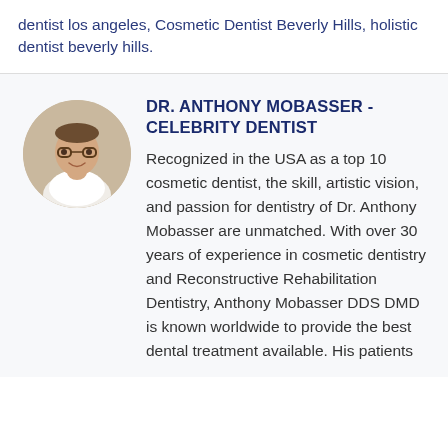dentist los angeles, Cosmetic Dentist Beverly Hills, holistic dentist beverly hills.
[Figure (photo): Circular portrait photo of Dr. Anthony Mobasser, a man wearing glasses and a white coat, smiling, outdoors with blurred background]
DR. ANTHONY MOBASSER - CELEBRITY DENTIST
Recognized in the USA as a top 10 cosmetic dentist, the skill, artistic vision, and passion for dentistry of Dr. Anthony Mobasser are unmatched. With over 30 years of experience in cosmetic dentistry and Reconstructive Rehabilitation Dentistry, Anthony Mobasser DDS DMD is known worldwide to provide the best dental treatment available. His patients